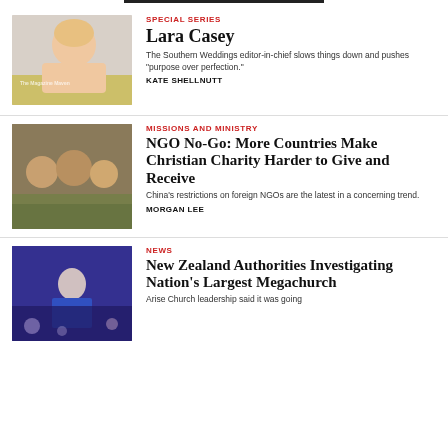[Figure (photo): Smiling woman with blonde hair, promotional image for The Magazine Maven]
SPECIAL SERIES
Lara Casey
The Southern Weddings editor-in-chief slows things down and pushes “purpose over perfection.”
KATE SHELLNUTT
[Figure (photo): Group of people outdoors at what appears to be a market or community gathering]
MISSIONS AND MINISTRY
NGO No-Go: More Countries Make Christian Charity Harder to Give and Receive
China’s restrictions on foreign NGOs are the latest in a concerning trend.
MORGAN LEE
[Figure (photo): Man in suit standing on a stage with lights and audience in background]
NEWS
New Zealand Authorities Investigating Nation’s Largest Megachurch
Arise Church leadership said it was going